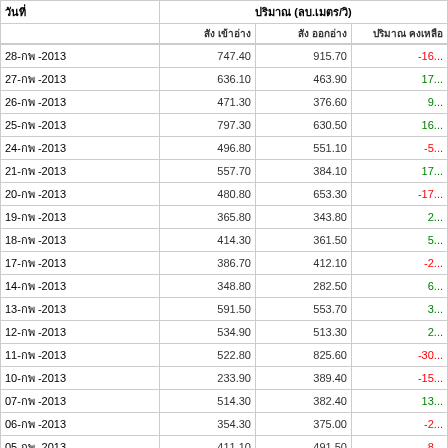| วันที่ | ปริมาณ (ลบ.เมตร/วิ) |  |  |
| --- | --- | --- | --- |
| 28-กพ -2013 | 747.40 | 915.70 | -16... |
| 27-กพ -2013 | 636.10 | 463.90 | 17... |
| 26-กพ -2013 | 471.30 | 376.60 | 9... |
| 25-กพ -2013 | 797.30 | 630.50 | 16... |
| 24-กพ -2013 | 496.80 | 551.10 | -5... |
| 21-กพ -2013 | 557.70 | 384.10 | 17... |
| 20-กพ -2013 | 480.80 | 653.30 | -17... |
| 19-กพ -2013 | 365.80 | 343.80 | 2... |
| 18-กพ -2013 | 414.30 | 361.50 | 5... |
| 17-กพ -2013 | 386.70 | 412.10 | -2... |
| 14-กพ -2013 | 348.80 | 282.50 | 6... |
| 13-กพ -2013 | 591.50 | 553.70 | 3... |
| 12-กพ -2013 | 534.90 | 513.30 | 2... |
| 11-กพ -2013 | 522.80 | 825.60 | -30... |
| 10-กพ -2013 | 233.90 | 389.40 | -15... |
| 07-กพ -2013 | 514.30 | 382.40 | 13... |
| 06-กพ -2013 | 354.30 | 375.00 | -2... |
| 05-กพ -2013 | 411.10 | 491.50 | -8... |
| 04-กพ -2013 | 343.80 | 384.30 | -4... |
| 03-กพ -2013 | 372.70 | 560.80 | -18... |
| TOTAL | 9,582.30 | 9,851.10 | -26... |